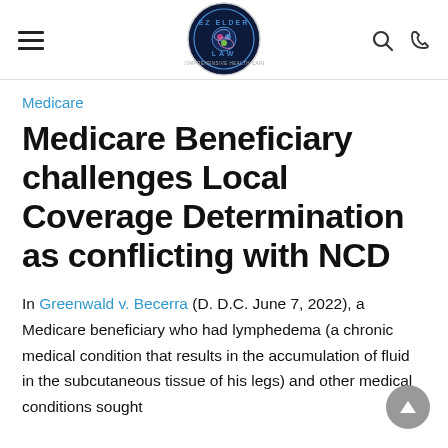EZ Elder Law — navigation header with hamburger menu, logo, search and phone icons
Medicare
Medicare Beneficiary challenges Local Coverage Determination as conflicting with NCD
In Greenwald v. Becerra (D. D.C. June 7, 2022), a Medicare beneficiary who had lymphedema (a chronic medical condition that results in the accumulation of fluid in the subcutaneous tissue of his legs) and other medical conditions sought